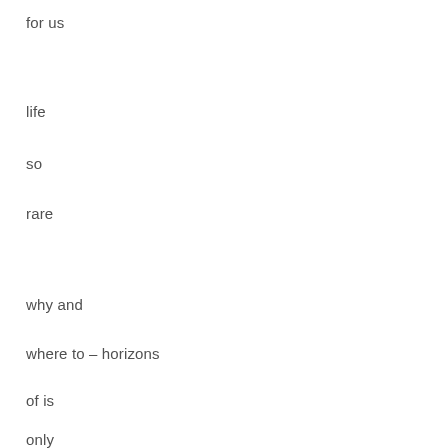for us
life
so
rare
why and
where to – horizons
of is
only